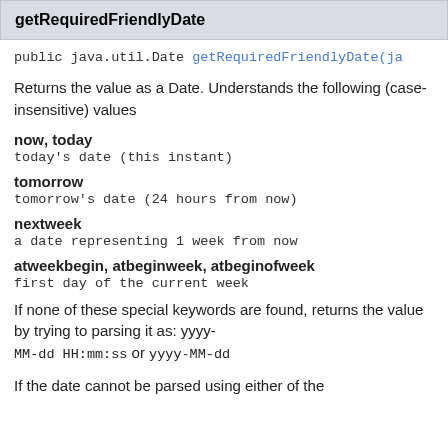getRequiredFriendlyDate
public java.util.Date getRequiredFriendlyDate(ja...
Returns the value as a Date. Understands the following (case-insensitive) values
now, today
today's date (this instant)
tomorrow
tomorrow's date (24 hours from now)
nextweek
a date representing 1 week from now
atweekbegin, atbeginweek, atbeginofweek
first day of the current week
If none of these special keywords are found, returns the value by trying to parsing it as: yyyy-MM-dd HH:mm:ss or yyyy-MM-dd
If the date cannot be parsed using either of the